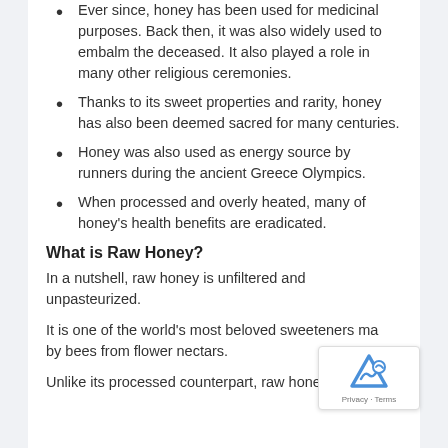Ever since, honey has been used for medicinal purposes. Back then, it was also widely used to embalm the deceased. It also played a role in many other religious ceremonies.
Thanks to its sweet properties and rarity, honey has also been deemed sacred for many centuries.
Honey was also used as energy source by runners during the ancient Greece Olympics.
When processed and overly heated, many of honey's health benefits are eradicated.
What is Raw Honey?
In a nutshell, raw honey is unfiltered and unpasteurized.
It is one of the world's most beloved sweeteners made by bees from flower nectars.
Unlike its processed counterpart, raw honey's amazing